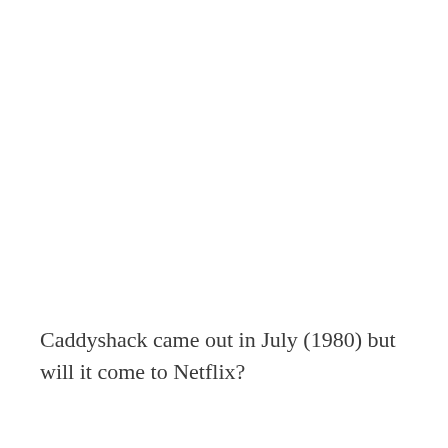Caddyshack came out in July (1980) but will it come to Netflix?